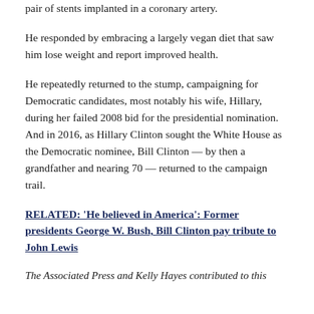pair of stents implanted in a coronary artery.
He responded by embracing a largely vegan diet that saw him lose weight and report improved health.
He repeatedly returned to the stump, campaigning for Democratic candidates, most notably his wife, Hillary, during her failed 2008 bid for the presidential nomination. And in 2016, as Hillary Clinton sought the White House as the Democratic nominee, Bill Clinton — by then a grandfather and nearing 70 — returned to the campaign trail.
RELATED: ‘He believed in America’: Former presidents George W. Bush, Bill Clinton pay tribute to John Lewis
The Associated Press and Kelly Hayes contributed to this